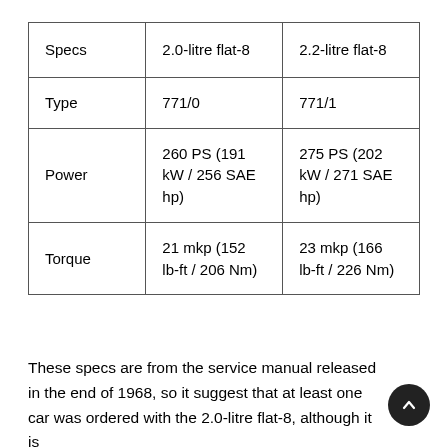| Specs | 2.0-litre flat-8 | 2.2-litre flat-8 |
| --- | --- | --- |
| Type | 771/0 | 771/1 |
| Power | 260 PS (191 kW / 256 SAE hp) | 275 PS (202 kW / 271 SAE hp) |
| Torque | 21 mkp (152 lb-ft / 206 Nm) | 23 mkp (166 lb-ft / 226 Nm) |
These specs are from the service manual released in the end of 1968, so it suggest that at least one car was ordered with the 2.0-litre flat-8, although it is